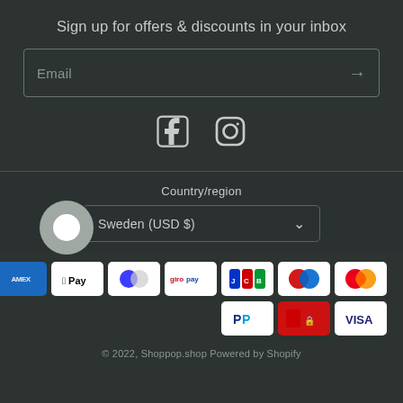Sign up for offers & discounts in your inbox
Email
[Figure (infographic): Facebook and Instagram social media icons]
Country/region
Sweden (USD $)
[Figure (infographic): Payment method icons: Amex, Apple Pay, Diners Club, Giropay, JCB, Maestro, Mastercard, PayPal, Shop Pay, Visa]
© 2022, Shoppop.shop Powered by Shopify